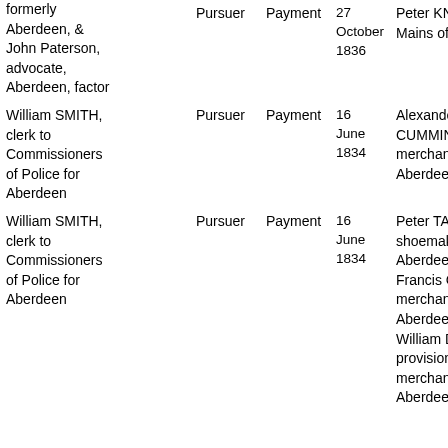| Pursuer/Party | Role | Type | Date | Defender/Party |
| --- | --- | --- | --- | --- |
| formerly Aberdeen, & John Paterson, advocate, Aberdeen, factor | Pursuer | Payment | 27 October 1836 | Peter KNOX, Mains of Philo |
| William SMITH, clerk to Commissioners of Police for Aberdeen | Pursuer | Payment | 16 June 1834 | Alexander CUMMING, woo merchant, Aberdeen |
| William SMITH, clerk to Commissioners of Police for Aberdeen | Pursuer | Payment | 16 June 1834 | Peter TAYLOR, shoemaker, Aberdeen, & Francis Chrysta merchant, Aberdeen, and William Duncan provision merchant, Aberdeen |